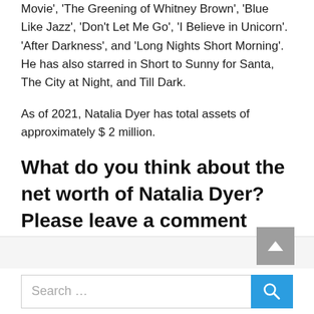Movie', 'The Greening of Whitney Brown', 'Blue Like Jazz', 'Don't Let Me Go', 'I Believe in Unicorn'. 'After Darkness', and 'Long Nights Short Morning'. He has also starred in Short to Sunny for Santa, The City at Night, and Till Dark.
As of 2021, Natalia Dyer has total assets of approximately $ 2 million.
What do you think about the net worth of Natalia Dyer? Please leave a comment below.